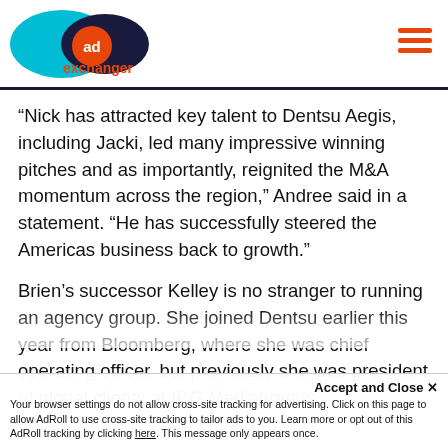[Figure (logo): AdExchanger logo with cyan and dark blue overlapping ovals and orange 'ad' circle]
“Nick has attracted key talent to Dentsu Aegis, including Jacki, led many impressive winning pitches and as importantly, reignited the M&A momentum across the region,” Andree said in a statement. “He has successfully steered the Americas business back to growth.”
Brien’s successor Kelley is no stranger to running an agency group. She joined Dentsu earlier this year from Bloomberg, where she was chief operating officer, but previously she was president of global clients at IPG Mediabrands.
Accept and Close ×
Your browser settings do not allow cross-site tracking for advertising. Click on this page to allow AdRoll to use cross-site tracking to tailor ads to you. Learn more or opt out of this AdRoll tracking by clicking here. This message only appears once.